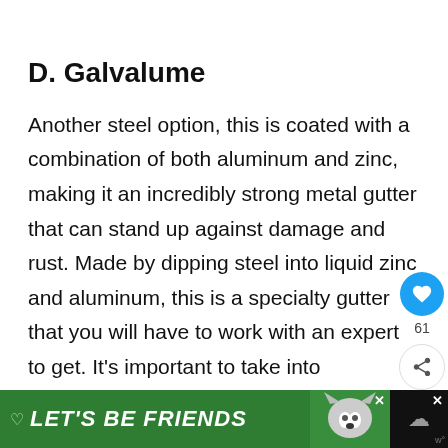D. Galvalume
Another steel option, this is coated with a combination of both aluminum and zinc, making it an incredibly strong metal gutter that can stand up against damage and rust. Made by dipping steel into liquid zinc and aluminum, this is a specialty gutter that you will have to work with an expert to get. It's important to take into consideration where you live before you opt for this type of gutter, as
[Figure (other): Social share bar with heart/like button showing 61 count and share icon]
[Figure (other): Green advertisement banner reading LET'S BE FRIENDS with a husky dog image]